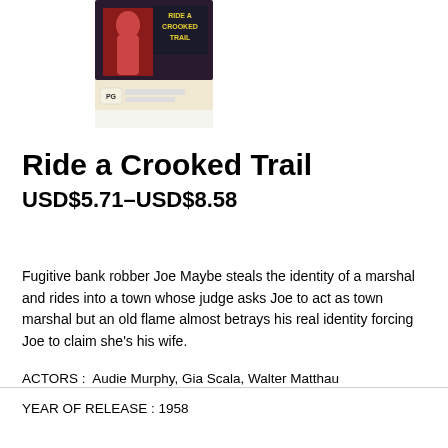[Figure (photo): DVD cover of 'Ride a Crooked Trail' showing movie artwork with title text in yellow/green and a PG rating badge]
Ride a Crooked Trail
USD$5.71–USD$8.58
Fugitive bank robber Joe Maybe steals the identity of a marshal and rides into a town whose judge asks Joe to act as town marshal but an old flame almost betrays his real identity forcing Joe to claim she's his wife.
ACTORS :  Audie Murphy, Gia Scala, Walter Matthau
YEAR OF RELEASE : 1958